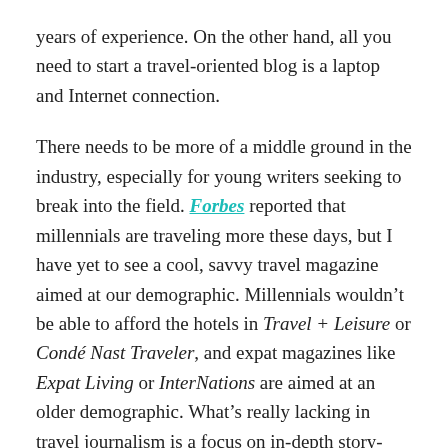years of experience. On the other hand, all you need to start a travel-oriented blog is a laptop and Internet connection.
There needs to be more of a middle ground in the industry, especially for young writers seeking to break into the field. Forbes reported that millennials are traveling more these days, but I have yet to see a cool, savvy travel magazine aimed at our demographic. Millennials wouldn't be able to afford the hotels in Travel + Leisure or Condé Nast Traveler, and expat magazines like Expat Living or InterNations are aimed at an older demographic. What's really lacking in travel journalism is a focus on in-depth story-driven articles, especially those that young travelers in their twenties and thirties can relate to.
I would not be interested in reading another listicle as someone gawks over cute little foreign coffee shops. I would, however, find it intriguing to read about what those coffee shops tell us